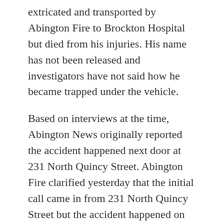extricated and transported by Abington Fire to Brockton Hospital but died from his injuries. His name has not been released and investigators have not said how he became trapped under the vehicle.
Based on interviews at the time, Abington News originally reported the accident happened next door at 231 North Quincy Street. Abington Fire clarified yesterday that the initial call came in from 231 North Quincy Street but the accident happened on 267 North Quincy Street.
Share this:
[Figure (other): Twitter and Facebook share buttons]